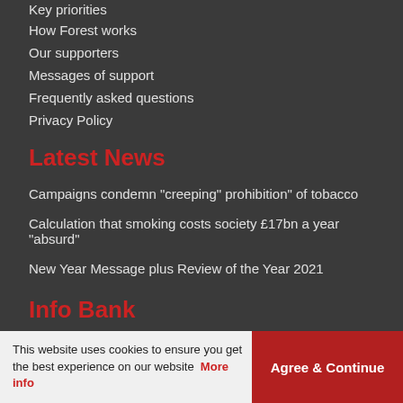Key priorities
How Forest works
Our supporters
Messages of support
Frequently asked questions
Privacy Policy
Latest News
Campaigns condemn "creeping" prohibition" of tobacco
Calculation that smoking costs society £17bn a year "absurd"
New Year Message plus Review of the Year 2021
Info Bank
This website uses cookies to ensure you get the best experience on our website  More info
Agree & Continue